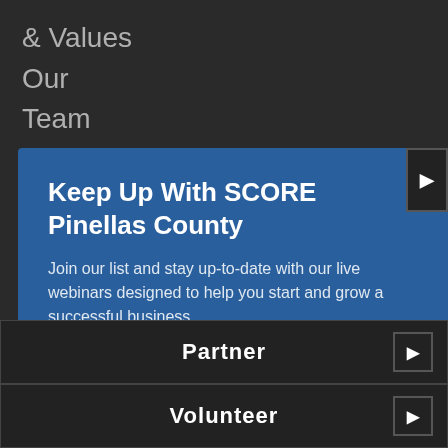& Values
Our
Team
Success
Stories
Keep Up With SCORE Pinellas County
Join our list and stay up-to-date with our live webinars designed to help you start and grow a successful business.
email address
Partner
Volunteer